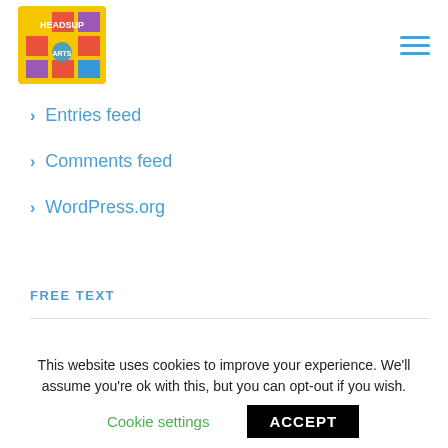[Figure (logo): HeadsUp Arts logo — yellow square with colorful geometric shapes and text]
Entries feed
Comments feed
WordPress.org
FREE TEXT
Energistically benchmark focused growth strategies
This website uses cookies to improve your experience. We'll assume you're ok with this, but you can opt-out if you wish.
Cookie settings   ACCEPT